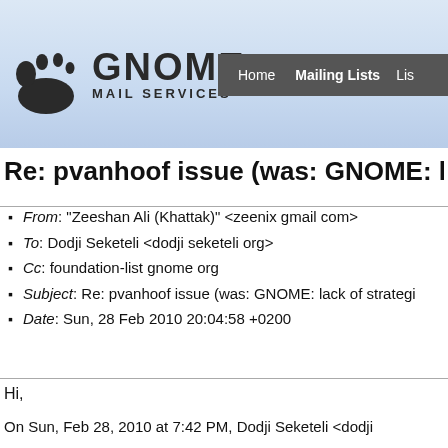[Figure (logo): GNOME Mail Services logo with GNOME footprint icon and navigation bar showing Home, Mailing Lists, and partial third link]
Re: pvanhoof issue (was: GNOME: lack of strategi...
From: "Zeeshan Ali (Khattak)" <zeenix gmail com>
To: Dodji Seketeli <dodji seketeli org>
Cc: foundation-list gnome org
Subject: Re: pvanhoof issue (was: GNOME: lack of strategi...
Date: Sun, 28 Feb 2010 20:04:58 +0200
Hi,
On Sun, Feb 28, 2010 at 7:42 PM, Dodji Seketeli <dodji...